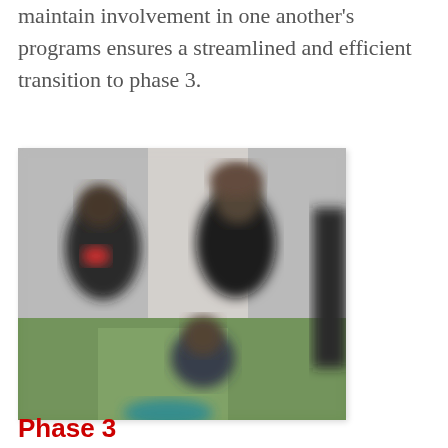maintain involvement in one another's programs ensures a streamlined and efficient transition to phase 3.
[Figure (photo): Blurred photograph of people on a sports field or outdoor setting, showing two or more individuals standing, one in dark clothing with curly hair.]
Phase 3